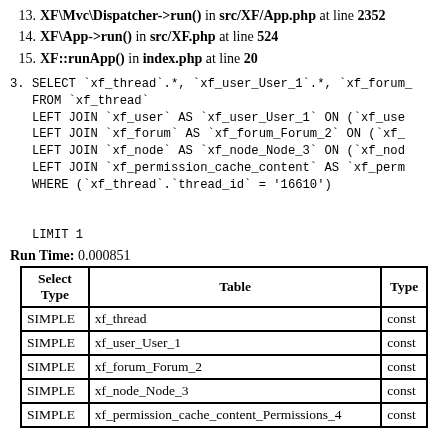13. XF\Mvc\Dispatcher->run() in src/XF/App.php at line 2352
14. XF\App->run() in src/XF.php at line 524
15. XF::runApp() in index.php at line 20
3. SELECT `xf_thread`.*, `xf_user_User_1`.*, `xf_forum_
   FROM `xf_thread`
   LEFT JOIN `xf_user` AS `xf_user_User_1` ON (`xf_use
   LEFT JOIN `xf_forum` AS `xf_forum_Forum_2` ON (`xf_
   LEFT JOIN `xf_node` AS `xf_node_Node_3` ON (`xf_nod
   LEFT JOIN `xf_permission_cache_content` AS `xf_perm
   WHERE (`xf_thread`.`thread_id` = '16610')


   LIMIT 1
Run Time: 0.000851
| Select Type | Table | Type |
| --- | --- | --- |
| SIMPLE | xf_thread | const |
| SIMPLE | xf_user_User_1 | const |
| SIMPLE | xf_forum_Forum_2 | const |
| SIMPLE | xf_node_Node_3 | const |
| SIMPLE | xf_permission_cache_content_Permissions_4 | const |